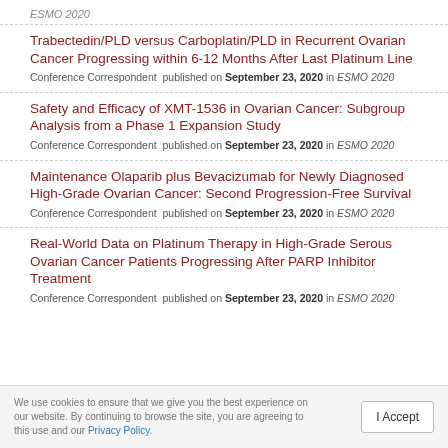ESMO 2020
Trabectedin/PLD versus Carboplatin/PLD in Recurrent Ovarian Cancer Progressing within 6-12 Months After Last Platinum Line
Conference Correspondent  published on September 23, 2020 in ESMO 2020
Safety and Efficacy of XMT-1536 in Ovarian Cancer: Subgroup Analysis from a Phase 1 Expansion Study
Conference Correspondent  published on September 23, 2020 in ESMO 2020
Maintenance Olaparib plus Bevacizumab for Newly Diagnosed High-Grade Ovarian Cancer: Second Progression-Free Survival
Conference Correspondent  published on September 23, 2020 in ESMO 2020
Real-World Data on Platinum Therapy in High-Grade Serous Ovarian Cancer Patients Progressing After PARP Inhibitor Treatment
Conference Correspondent  published on September 23, 2020 in ESMO 2020
We use cookies to ensure that we give you the best experience on our website. By continuing to browse the site, you are agreeing to this use and our Privacy Policy.